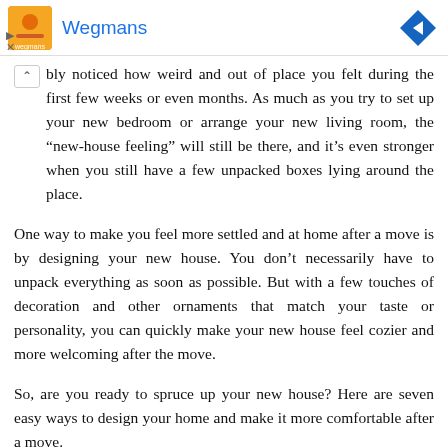[Figure (other): Wegmans advertisement banner with logo, brand name in blue, and a blue diamond-shaped arrow icon on the right. Small play and close controls on the lower left.]
bly noticed how weird and out of place you felt during the first few weeks or even months. As much as you try to set up your new bedroom or arrange your new living room, the “new-house feeling” will still be there, and it’s even stronger when you still have a few unpacked boxes lying around the place.
One way to make you feel more settled and at home after a move is by designing your new house. You don’t necessarily have to unpack everything as soon as possible. But with a few touches of decoration and other ornaments that match your taste or personality, you can quickly make your new house feel cozier and more welcoming after the move.
So, are you ready to spruce up your new house? Here are seven easy ways to design your home and make it more comfortable after a move.